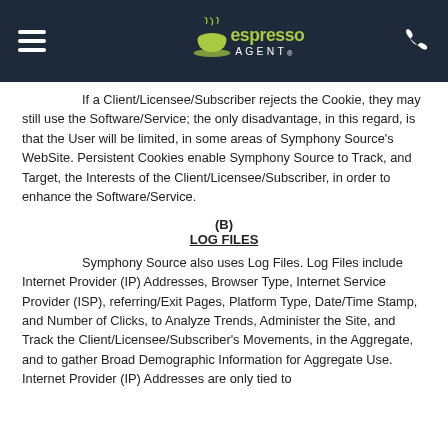Espresso Agent
If a Client/Licensee/Subscriber rejects the Cookie, they may still use the Software/Service; the only disadvantage, in this regard, is that the User will be limited, in some areas of Symphony Source's WebSite. Persistent Cookies enable Symphony Source to Track, and Target, the Interests of the Client/Licensee/Subscriber, in order to enhance the Software/Service.
(B) LOG FILES
Symphony Source also uses Log Files. Log Files include Internet Provider (IP) Addresses, Browser Type, Internet Service Provider (ISP), referring/Exit Pages, Platform Type, Date/Time Stamp, and Number of Clicks, to Analyze Trends, Administer the Site, and Track the Client/Licensee/Subscriber's Movements, in the Aggregate, and to gather Broad Demographic Information for Aggregate Use. Internet Provider (IP) Addresses are only tied to